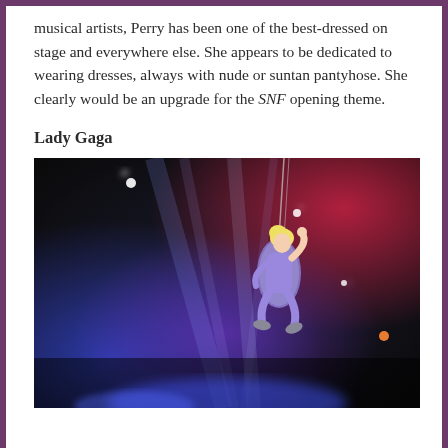musical artists, Perry has been one of the best-dressed on stage and everywhere else. She appears to be dedicated to wearing dresses, always with nude or suntan pantyhose. She clearly would be an upgrade for the SNF opening theme.
Lady Gaga
[Figure (photo): Lady Gaga performing on a swing/wire aerial stunt, wearing a silver/purple sparkling bodysuit and boots, against a dramatic stage lighting backdrop with red, blue, and white lights.]